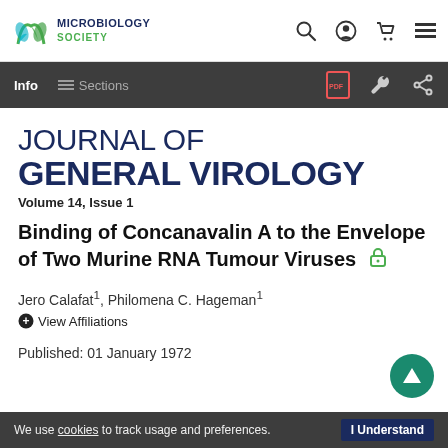MICROBIOLOGY SOCIETY
Info  Sections
JOURNAL OF GENERAL VIROLOGY
Volume 14, Issue 1
Binding of Concanavalin A to the Envelope of Two Murine RNA Tumour Viruses
Jero Calafat¹, Philomena C. Hageman¹
➕ View Affiliations
Published: 01 January 1972
We use cookies to track usage and preferences.  I Understand